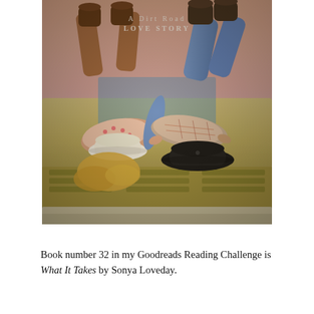[Figure (photo): Book cover of 'What It Takes: A Dirt Road Love Story' by Sonya Loveday. Two people lying on the hood of a vintage car, one wearing a white cowboy hat and the other a black cowboy hat, both wearing boots. Warm vintage-toned photography.]
Book number 32 in my Goodreads Reading Challenge is What It Takes by Sonya Loveday.